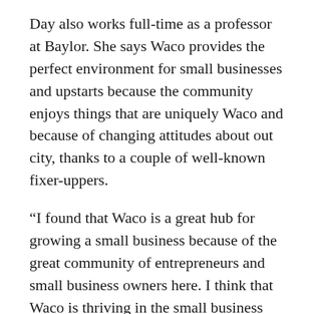Day also works full-time as a professor at Baylor. She says Waco provides the perfect environment for small businesses and upstarts because the community enjoys things that are uniquely Waco and because of changing attitudes about out city, thanks to a couple of well-known fixer-uppers.
“I found that Waco is a great hub for growing a small business because of the great community of entrepreneurs and small business owners here. I think that Waco is thriving in the small business scene partially because it’s a great location between two hubs of Dallas and Austin, and I also think it’s because the community and customers are so supportive of upstarts here. People are really excited to get involved in something they can take pride in and have affiliation with,” Day said. “Of course, everyone talks about the Gaineses, but the level of taste and style they have